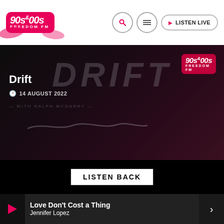[Figure (logo): 90s & 00s Freedom FM radio station logo in pink/red on white navigation bar]
LISTEN LIVE
[Figure (screenshot): Hero banner showing DRIFT show artwork with 90s & 00s Freedom FM logo, date 14 AUGUST 2022]
Drift
14 AUGUST 2022
LISTEN BACK
Love Don't Cost a Thing
Jennifer Lopez